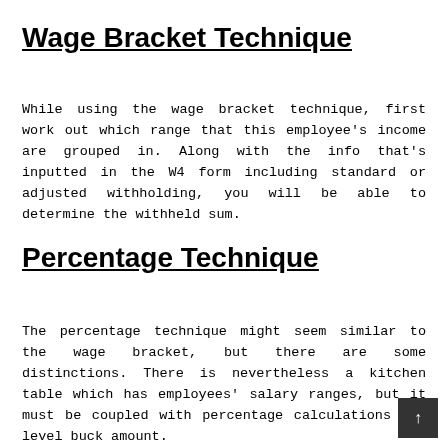Wage Bracket Technique
While using the wage bracket technique, first work out which range that this employee's income are grouped in. Along with the info that's inputted in the W4 form including standard or adjusted withholding, you will be able to determine the withheld sum.
Percentage Technique
The percentage technique might seem similar to the wage bracket, but there are some distinctions. There is nevertheless a kitchen table which has employees' salary ranges, but it must be coupled with percentage calculations and level buck amount.